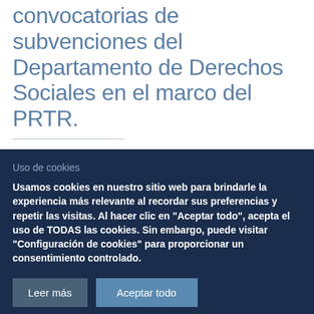convocatorias de subvenciones del Departamento de Derechos Sociales en el marco del PRTR.
Fecha publicación
Uso de cookies
Usamos cookies en nuestro sitio web para brindarle la experiencia más relevante al recordar sus preferencias y repetir las visitas. Al hacer clic en "Aceptar todo", acepta el uso de TODAS las cookies. Sin embargo, puede visitar "Configuración de cookies" para proporcionar un consentimiento controlado.
Leer más
Aceptar todo